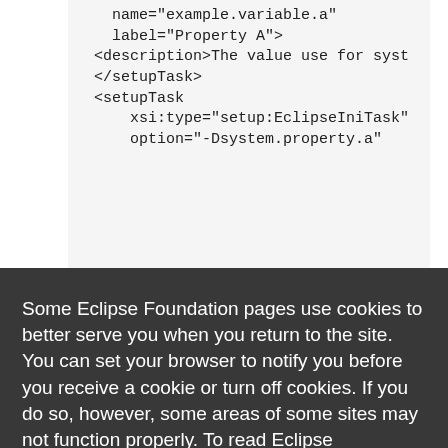[Figure (screenshot): Code snippet in monospace font on light gray background showing XML setup task configuration with name, label, description, setupTask, xsi:type, and other XML attributes]
Some Eclipse Foundation pages use cookies to better serve you when you return to the site. You can set your browser to notify you before you receive a cookie or turn off cookies. If you do so, however, some areas of some sites may not function properly. To read Eclipse Foundation Privacy Policy
click here.
Decline
Allow cookies